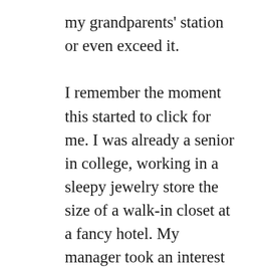my grandparents' station or even exceed it.

I remember the moment this started to click for me. I was already a senior in college, working in a sleepy jewelry store the size of a walk-in closet at a fancy hotel. My manager took an interest in me and fed my general curiosity by sharing everything she knew about the jewelry business—which was extensive. One day, she brought in some information she'd printed out about a grant for graduate students who were the first to graduate from college in their families. When